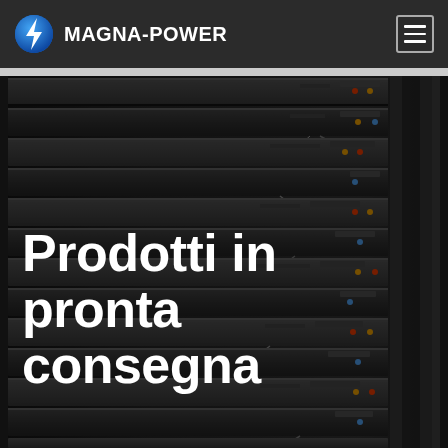MAGNA-POWER
[Figure (photo): Rack shelving filled with multiple rows of Magna-Power electronic equipment and power supply units, with visible wiring and components, shown in a dark industrial warehouse setting.]
Prodotti in pronta consegna